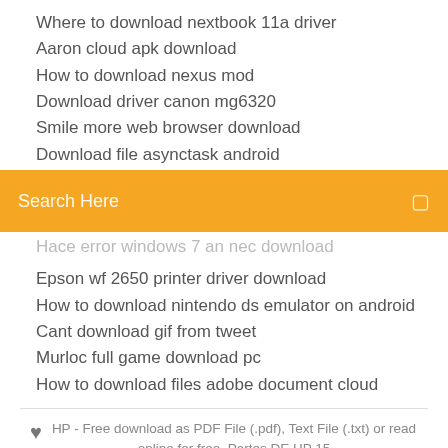Where to download nextbook 11a driver
Aaron cloud apk download
How to download nexus mod
Download driver canon mg6320
Smile more web browser download
Download file asynctask android
[Figure (screenshot): Orange/yellow search bar with text 'Search Here' and a search icon on the right]
Hace error windows 7 an nec download
Epson wf 2650 printer driver download
How to download nintendo ds emulator on android
Cant download gif from tweet
Murloc full game download pc
How to download files adobe document cloud
HP - Free download as PDF File (.pdf), Text File (.txt) or read online for free. Partes DE HP 15